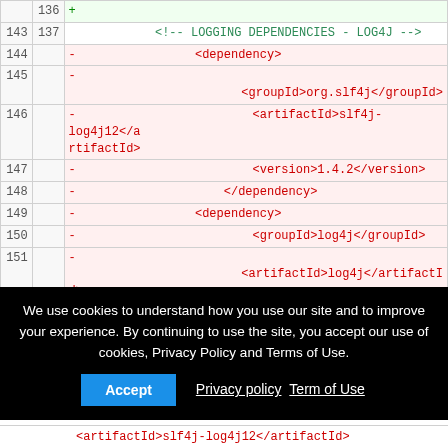| old | new | code |
| --- | --- | --- |
|  | 136 | + |
| 143 | 137 | <!-- LOGGING DEPENDENCIES - LOG4J --> |
| 144 |  | - <dependency> |
| 145 |  | - <groupId>org.slf4j</groupId> |
| 146 |  | - <artifactId>slf4j-log4j12</artifactId> |
| 147 |  | - <version>1.4.2</version> |
| 148 |  | - </dependency> |
| 149 |  | - <dependency> |
| 150 |  | - <groupId>log4j</groupId> |
| 151 |  | - <artifactId>log4j</artifactId> |
| 152 |  | - <version>1.2.14</version> |
| 153 |  | - </dependency> |
We use cookies to understand how you use our site and to improve your experience. By continuing to use the site, you accept our use of cookies, Privacy Policy and Terms of Use.
Accept   Privacy policy   Term of Use